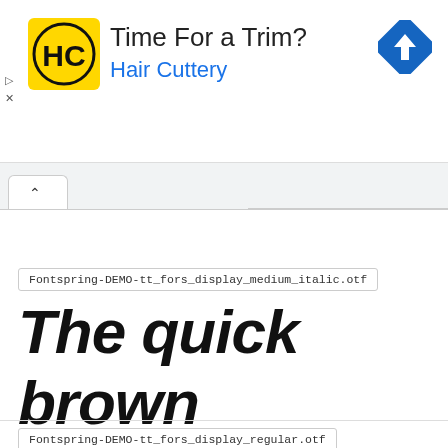[Figure (screenshot): Hair Cuttery advertisement banner with logo, 'Time For a Trim?' heading, and navigation icon]
Fontspring-DEMO-tt_fors_display_medium_italic.otf
The quick brown
Fontspring-DEMO-tt_fors_display_regular.otf
The quick brown f